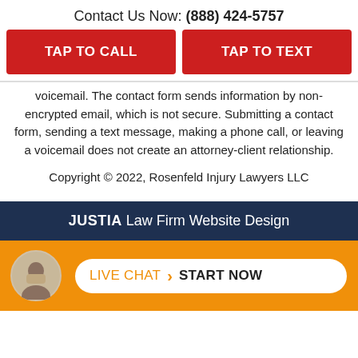Contact Us Now: (888) 424-5757
[Figure (infographic): Two red call-to-action buttons: TAP TO CALL and TAP TO TEXT]
voicemail. The contact form sends information by non-encrypted email, which is not secure. Submitting a contact form, sending a text message, making a phone call, or leaving a voicemail does not create an attorney-client relationship.
Copyright © 2022, Rosenfeld Injury Lawyers LLC
JUSTIA Law Firm Website Design
[Figure (infographic): Orange bar with avatar photo and LIVE CHAT > START NOW pill button]